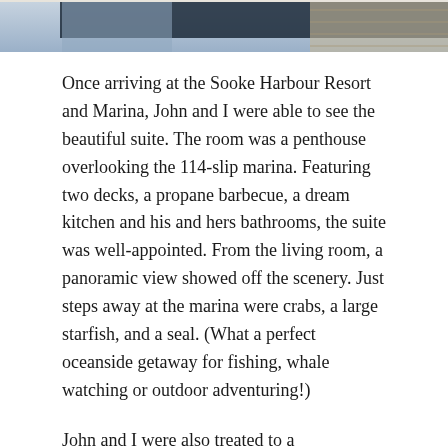[Figure (photo): Top strip showing a partial photo of people and scenery at Sooke Harbour Resort and Marina]
Once arriving at the Sooke Harbour Resort and Marina, John and I were able to see the beautiful suite. The room was a penthouse overlooking the 114-slip marina. Featuring two decks, a propane barbecue, a dream kitchen and his and hers bathrooms, the suite was well-appointed. From the living room, a panoramic view showed off the scenery. Just steps away at the marina were crabs, a large starfish, and a seal. (What a perfect oceanside getaway for fishing, whale watching or outdoor adventuring!)
John and I were also treated to a complimentary basket with gourmet cheeses, bread and a good bottle of red wine. It was hard not to feel right at home on the patio overlooking the boat launch, beaches, and the beautiful sunset.
Serious Coffee